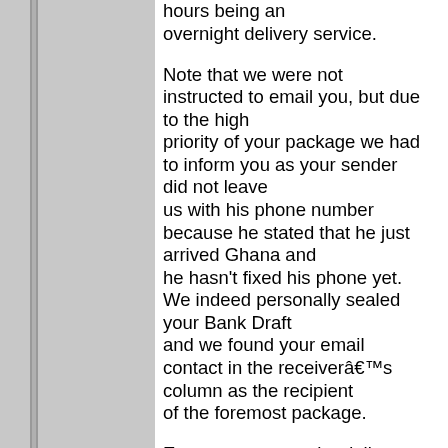hours being an overnight delivery service.

Note that we were not instructed to email you, but due to the high priority of your package we had to inform you as your sender did not leave us with his phone number because he stated that he just arrived Ghana and he hasn't fixed his phone yet. We indeed personally sealed your Bank Draft and we found your email contact in the receiverâ€™s column as the recipient of the foremost package.

Ensure to contact the delivery department with the email address given above and ensure to fill the above form as well to enable a successful reconfirmation.

Do not reply this email because this email account is not